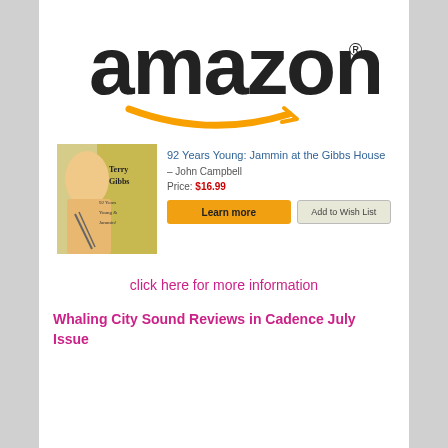[Figure (logo): Amazon logo with orange smile arrow and registered trademark symbol]
[Figure (photo): Book cover for '92 Years Young: Jammin at the Gibbs House' featuring Terry Gibbs]
92 Years Young: Jammin at the Gibbs House
– John Campbell
Price: $16.99
Learn more
Add to Wish List
click here for more information
Whaling City Sound Reviews in Cadence July Issue